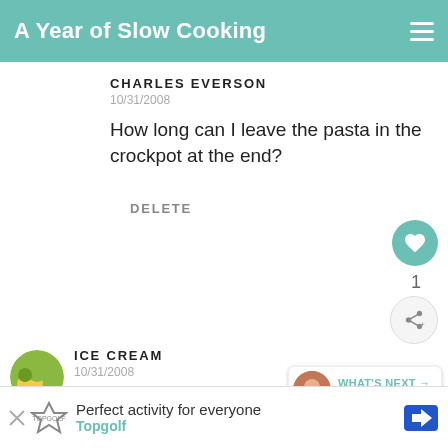A Year of Slow Cooking
CHARLES EVERSON
10/31/2008
How long can I leave the pasta in the crockpot at the end?
DELETE
ICE CREAM
10/31/2008
Who knew that crockpotting could lea... fame. This makes me REALLY want to stick to my New Years resolution. So do you have
WHAT'S NEXT → Find a recipe
[Figure (screenshot): Advertisement banner: Perfect activity for everyone - Topgolf]